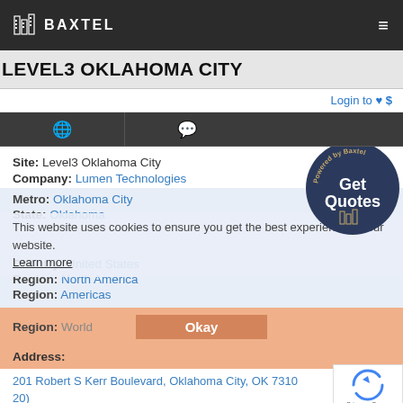Baxtel
LEVEL3 OKLAHOMA CITY
Login to ♥ $
Site: Level3 Oklahoma City
Company: Lumen Technologies
Metro: Oklahoma City
State: Oklahoma
Country: United States
Region: North America
Region: Americas
Region: World
Address:
This website uses cookies to ensure you get the best experience on our website. Learn more
Okay
201 Robert S Kerr Boulevard, Oklahoma City, OK 7310
20)
[Figure (logo): Powered by Baxtel Get Quotes circular badge with building icon]